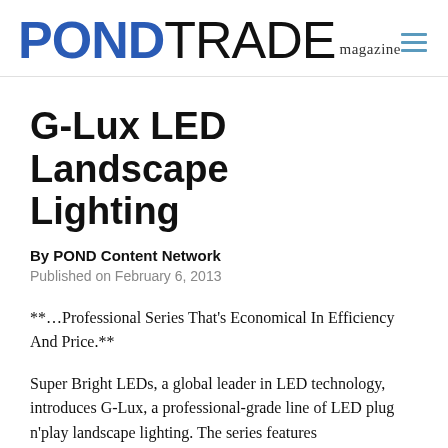PONDTRADE magazine
G-Lux LED Landscape Lighting
By POND Content Network
Published on February 6, 2013
**...Professional Series That's Economical In Efficiency And Price.**
Super Bright LEDs, a global leader in LED technology, introduces G-Lux, a professional-grade line of LED plug n'play landscape lighting. The series features